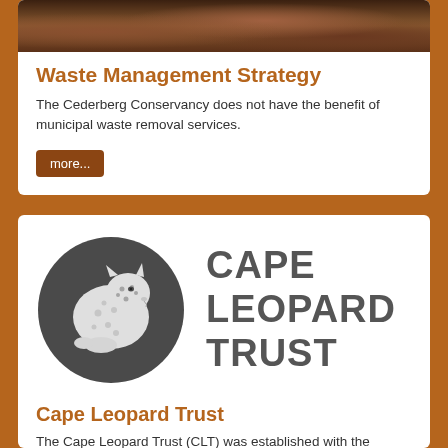[Figure (photo): Brown rocky landscape photo bar at top of card]
Waste Management Strategy
The Cederberg Conservancy does not have the benefit of municipal waste removal services.
more...
[Figure (logo): Cape Leopard Trust logo: dark grey circle with white leopard illustration and text CAPE LEOPARD TRUST to the right]
Cape Leopard Trust
The Cape Leopard Trust (CLT) was established with the primary objective to facilitate and promote research